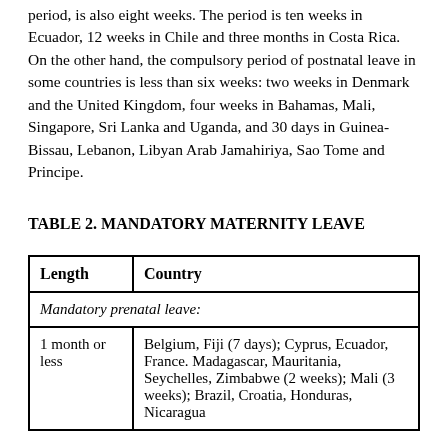period, is also eight weeks. The period is ten weeks in Ecuador, 12 weeks in Chile and three months in Costa Rica. On the other hand, the compulsory period of postnatal leave in some countries is less than six weeks: two weeks in Denmark and the United Kingdom, four weeks in Bahamas, Mali, Singapore, Sri Lanka and Uganda, and 30 days in Guinea-Bissau, Lebanon, Libyan Arab Jamahiriya, Sao Tome and Principe.
TABLE 2. MANDATORY MATERNITY LEAVE
| Length | Country |
| --- | --- |
| Mandatory prenatal leave: |  |
| 1 month or less | Belgium, Fiji (7 days); Cyprus, Ecuador, France. Madagascar, Mauritania, Seychelles, Zimbabwe (2 weeks); Mali (3 weeks); Brazil, Croatia, Honduras, Nicaragua |